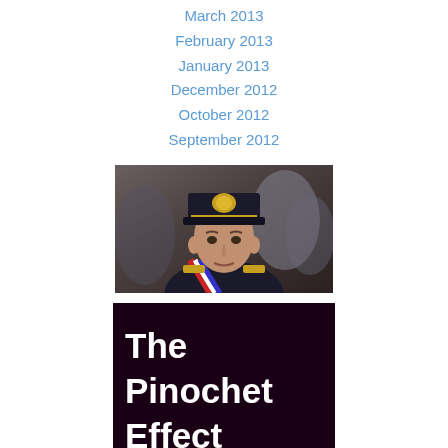March 2013
February 2013
January 2013
December 2012
October 2012
September 2012
[Figure (photo): Military officer in uniform and cap with a sash, crowd in background]
[Figure (illustration): Book cover: 'The Pinochet Effect: Transnational Justice in the Age of Human Rights' on dark maroon background with white bold text]